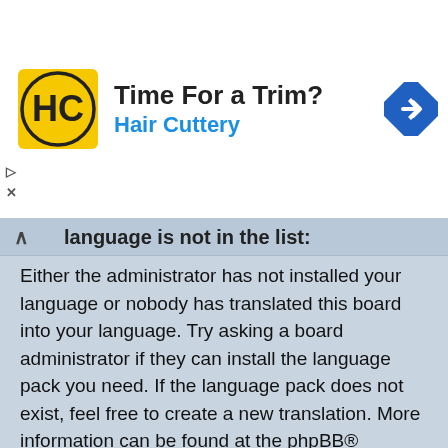[Figure (other): Advertisement banner for Hair Cuttery with logo, title 'Time For a Trim?', subtitle 'Hair Cuttery', and a blue navigation arrow icon]
language is not in the list:
Either the administrator has not installed your language or nobody has translated this board into your language. Try asking a board administrator if they can install the language pack you need. If the language pack does not exist, feel free to create a new translation. More information can be found at the phpBB® website.
↑Top
What are the images next to my username?
There are two images which may appear along with a username when viewing posts. One of them may be an image associated with your rank, generally in the form of stars, blocks or dots, indicating how many posts you have